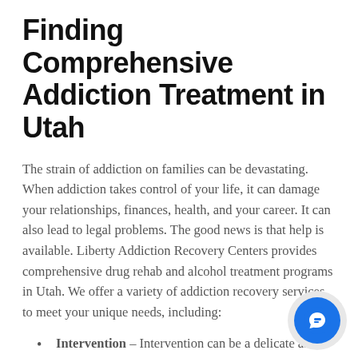Finding Comprehensive Addiction Treatment in Utah
The strain of addiction on families can be devastating. When addiction takes control of your life, it can damage your relationships, finances, health, and your career. It can also lead to legal problems. The good news is that help is available. Liberty Addiction Recovery Centers provides comprehensive drug rehab and alcohol treatment programs in Utah. We offer a variety of addiction recovery services to meet your unique needs, including:
Intervention – Intervention can be a delicate and tedious process at first, but our professional counselors have the experience and compassion to help you through this crucial first step.
Detoxification – Our detox program is designed to help you safely and effectively rid your body of addictive substances and toxins.
Rehabilitation – Our rehabilitation program will